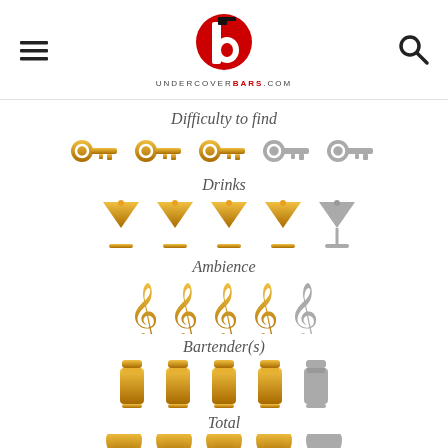UNDERCOVRBARS.COM logo with hamburger menu and search icon
Difficulty to find
[Figure (infographic): 5 key icons rating difficulty to find: 3 gold keys and 2 gray keys]
Drinks
[Figure (infographic): 5 cocktail glass icons rating drinks: 4 gold martini glasses and 1 gray martini glass]
Ambience
[Figure (infographic): 5 treble clef icons rating ambience: 4 gold treble clefs and 1 gray treble clef]
Bartender(s)
[Figure (infographic): 5 cocktail shaker icons rating bartenders: 4 gold shakers and 1 gray shaker]
Total
[Figure (infographic): 5 trophy/bar icons for total rating: 4 gold and 1 gray, partially visible at bottom]